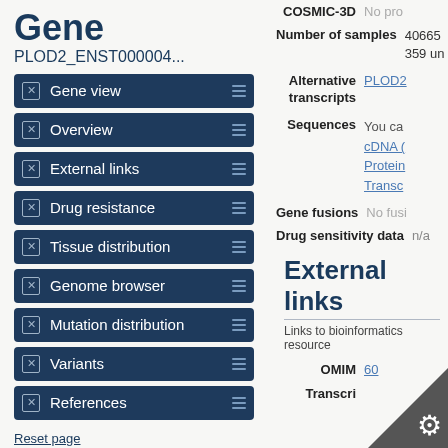Gene
PLOD2_ENST000004...
Gene view
Overview
External links
Drug resistance
Tissue distribution
Genome browser
Mutation distribution
Variants
References
Reset page
Search
COSMIC-3D  No pro
Number of samples  40665
359 un
Alternative transcripts  PLOD2
Sequences  You ca
cDNA (
Protein
Transc
Gene fusions  No fusi
Drug sensitivity data  n/a
External links
Links to bioinformatics resource
OMIM  60
Transcri